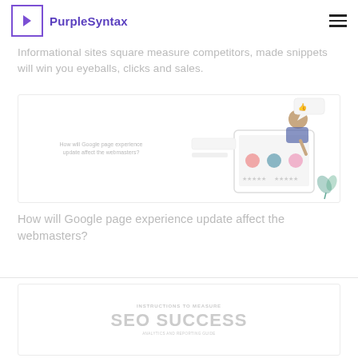PurpleSyntax
Informational sites square measure competitors, made snippets will win you eyeballs, clicks and sales.
[Figure (illustration): Card with illustration showing a person using a tablet, with a text overlay reading 'How will Google page experience update affect the webmasters?']
How will Google page experience update affect the webmasters?
[Figure (illustration): Card showing text 'INSTRUCTIONS TO MEASURE SEO SUCCESS' with stylized large text]